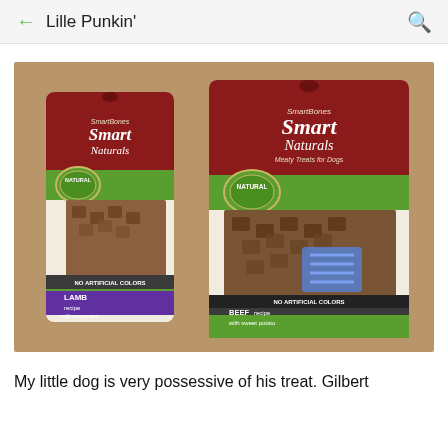Lille Punkin'
[Figure (photo): Two bags of SmartBones Smart Naturals dog treats on a brown paper background. Left bag: Lamb recipe with rosemary. Right bag: Beef recipe with sweet potato. Both bags have dark red tops, white and green lower sections, and display 'NATURAL' badges.]
My little dog is very possessive of his treat. Gilbert